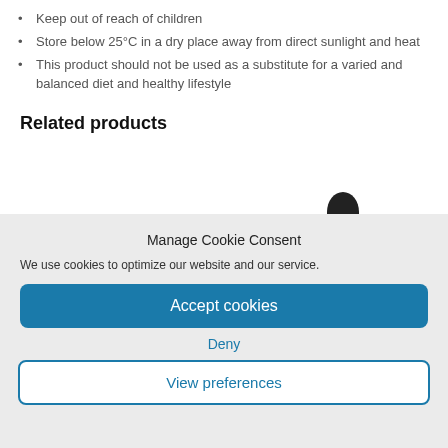Keep out of reach of children
Store below 25°C in a dry place away from direct sunlight and heat
This product should not be used as a substitute for a varied and balanced diet and healthy lifestyle
Related products
[Figure (photo): Two related product images: a dark rectangular bar/strip product on the left and a dark dome-shaped product on the right]
Manage Cookie Consent
We use cookies to optimize our website and our service.
Accept cookies
Deny
View preferences